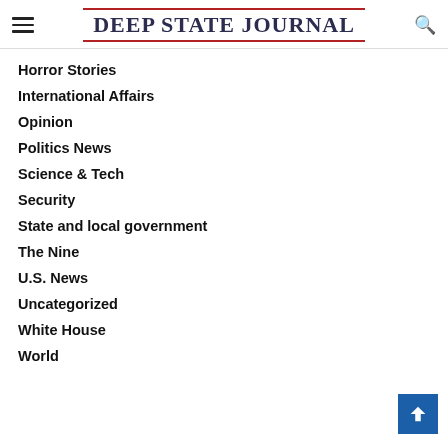DEEP STATE JOURNAL
Horror Stories
International Affairs
Opinion
Politics News
Science & Tech
Security
State and local government
The Nine
U.S. News
Uncategorized
White House
World